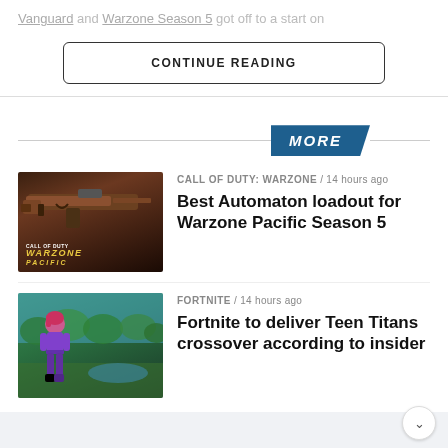Vanguard and Warzone Season 5 got off to a start on
CONTINUE READING
MORE
[Figure (photo): Call of Duty: Warzone Pacific game image with a rifle in the foreground and Warzone Pacific logo]
CALL OF DUTY: WARZONE / 14 hours ago
Best Automaton loadout for Warzone Pacific Season 5
[Figure (photo): Fortnite game image with a female character in purple costume standing in a colorful landscape]
FORTNITE / 14 hours ago
Fortnite to deliver Teen Titans crossover according to insider